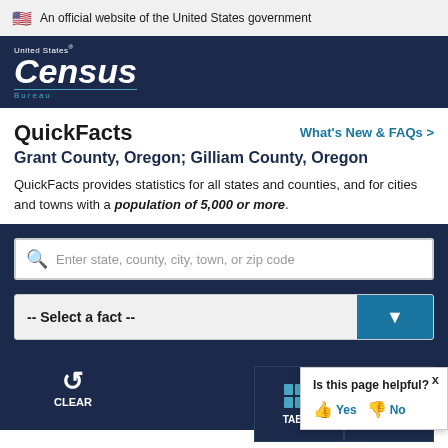🇺🇸 An official website of the United States government
[Figure (logo): United States Census Bureau logo - white text on dark navy background]
QuickFacts
Grant County, Oregon; Gilliam County, Oregon
QuickFacts provides statistics for all states and counties, and for cities and towns with a population of 5,000 or more.
Search: Enter state, county, city, town, or zip code
-- Select a fact --
CLEAR
Is this page helpful? Yes No